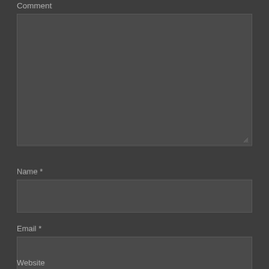Comment
[Figure (screenshot): Large textarea input field for comment, dark background with resize handle in bottom right corner]
Name *
[Figure (screenshot): Small text input field for name, dark background]
Email *
[Figure (screenshot): Small text input field for email, dark background]
Website